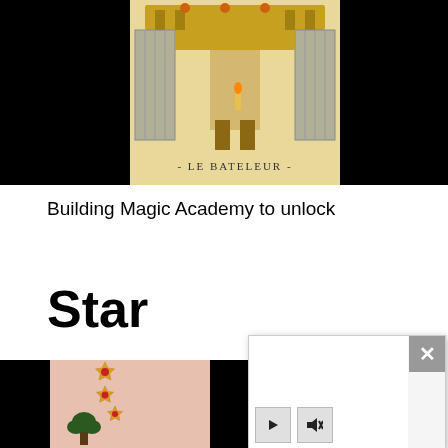[Figure (photo): Tarot card image against black background. Card shows 'LE BATELEUR' text at bottom with an illustrated figure and architectural elements.]
Building Magic Academy to unlock
Star
[Figure (photo): Partial tarot card image showing stars decorations on pink background with botanical illustration at bottom, against black background.]
[Figure (screenshot): Video player overlay with white content area, gray close button (X) in top right corner, and video control buttons (play and mute) at bottom left.]